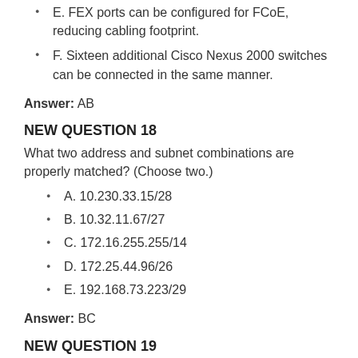E. FEX ports can be configured for FCoE, reducing cabling footprint.
F. Sixteen additional Cisco Nexus 2000 switches can be connected in the same manner.
Answer: AB
NEW QUESTION 18
What two address and subnet combinations are properly matched? (Choose two.)
A. 10.230.33.15/28
B. 10.32.11.67/27
C. 172.16.255.255/14
D. 172.25.44.96/26
E. 192.168.73.223/29
Answer: BC
NEW QUESTION 19